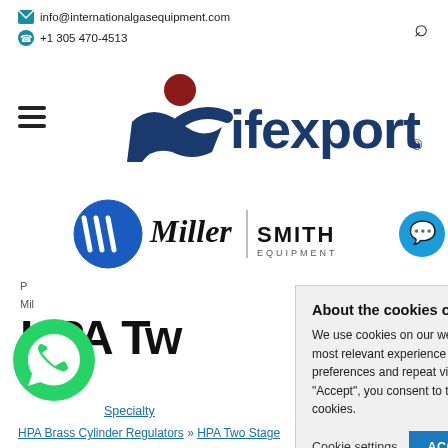info@internationalgasequipment.com  |  +1 305 470-4513
[Figure (logo): ifexport logo with stylized blue person figure and red circle head, with the text 'ifexport' in dark blue]
[Figure (logo): Miller Electric and Smith Equipment co-brand logos side by side with vertical divider]
P
Mil
HPA Tw
About the cookies on this website
We use cookies on our website to give you the most relevant experience by remembering your preferences and repeat visits. By clicking “Accept”, you consent to the use of ALL the cookies.
Cookie settings    ACCEPT
[Figure (logo): WhatsApp green circle icon]
H… Specialty
HPA Brass Cylinder Regulators » HPA Two Stage